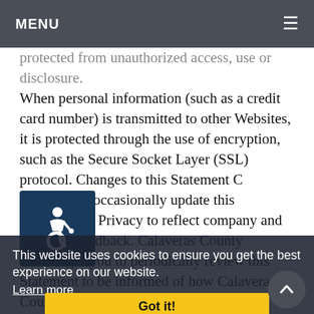MENU
protected from unauthorized access, use or disclosure. When personal information (such as a credit card number) is transmitted to other Websites, it is protected through the use of encryption, such as the Secure Socket Layer (SSL) protocol. Changes to this Statement C County will occasionally update this S t of Privacy to reflect company and customer feedback. Calaveras County encourages you to periodically review this Statement to be informed of how Calaveras County is protecting your information. Contact Information Calaveras County welcomes your comments regarding this Statement of Privacy. If you believe that Calaveras County has not adhered to this Statement, please contact Calaveras County at https://calaverasgov.us/Webmaster-Feedback. We will use commercially reasonable efforts to promptly
[Figure (infographic): Accessibility icon: white wheelchair symbol on dark blue square background]
This website uses cookies to ensure you get the best experience on our website.
Learn more
Got it!